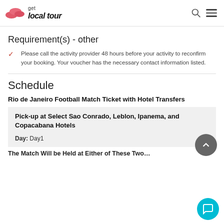get local tour
Requirement(s) - other
Please call the activity provider 48 hours before your activity to reconfirm your booking. Your voucher has the necessary contact information listed.
Schedule
Rio de Janeiro Football Match Ticket with Hotel Transfers
Pick-up at Select Sao Conrado, Leblon, Ipanema, and Copacabana Hotels

Day: Day1
The Match Will be Held at Either of These Two…